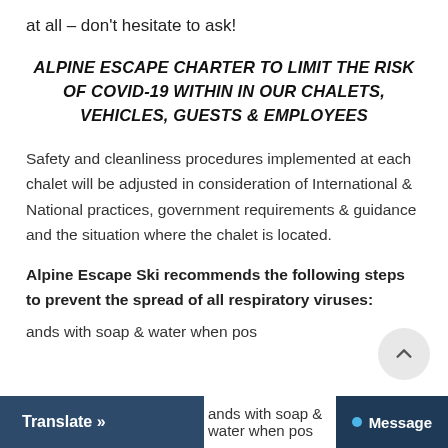at all – don't hesitate to ask!
ALPINE ESCAPE CHARTER TO LIMIT THE RISK OF COVID-19 WITHIN IN OUR CHALETS, VEHICLES, GUESTS & EMPLOYEES
Safety and cleanliness procedures implemented at each chalet will be adjusted in consideration of International & National practices, government requirements & guidance and the situation where the chalet is located.
Alpine Escape Ski recommends the following steps to prevent the spread of all respiratory viruses:
ands with soap & water when pos